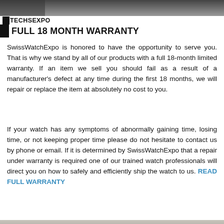[Figure (photo): Dark banner image at top of page showing a watch on a dark background]
TECHSEXPO
FULL 18 MONTH WARRANTY
SwissWatchExpo is honored to have the opportunity to serve you. That is why we stand by all of our products with a full 18-month limited warranty. If an item we sell you should fail as a result of a manufacturer's defect at any time during the first 18 months, we will repair or replace the item at absolutely no cost to you.
If your watch has any symptoms of abnormally gaining time, losing time, or not keeping proper time please do not hesitate to contact us by phone or email. If it is determined by SwissWatchExpo that a repair under warranty is required one of our trained watch professionals will direct you on how to safely and efficiently ship the watch to us. READ FULL WARRANTY